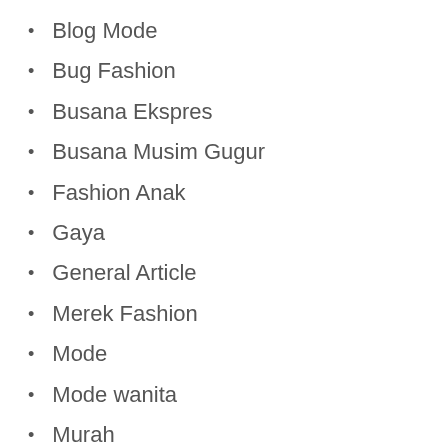Blog Mode
Bug Fashion
Busana Ekspres
Busana Musim Gugur
Fashion Anak
Gaya
General Article
Merek Fashion
Mode
Mode wanita
Murah
Pakaian
Pakaian Fashion...